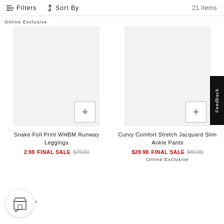Filters   Sort By   21 Items
Online Exclusive
[Figure (other): Product image placeholder for Snake Foil Print WHBM Runway Leggings with quick add + button]
Snake Foil Print WHBM Runway Leggings
$29.98 FINAL SALE $79.00
[Figure (other): Product image placeholder for Curvy Comfort Stretch Jacquard Slim Ankle Pants with quick add + button]
Curvy Comfort Stretch Jacquard Slim Ankle Pants
$29.98 FINAL SALE $89.00
Online Exclusive